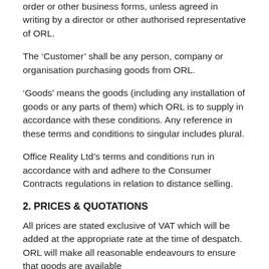order or other business forms, unless agreed in writing by a director or other authorised representative of ORL.
The ‘Customer’ shall be any person, company or organisation purchasing goods from ORL.
‘Goods’ means the goods (including any installation of goods or any parts of them) which ORL is to supply in accordance with these conditions. Any reference in these terms and conditions to singular includes plural.
Office Reality Ltd’s terms and conditions run in accordance with and adhere to the Consumer Contracts regulations in relation to distance selling.
2. PRICES & QUOTATIONS
All prices are stated exclusive of VAT which will be added at the appropriate rate at the time of despatch. ORL will make all reasonable endeavours to ensure that goods are available